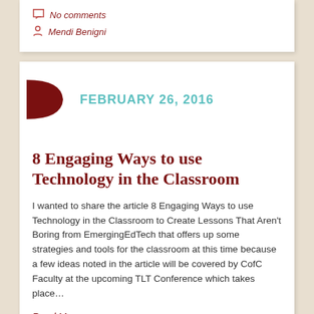No comments
Mendi Benigni
FEBRUARY 26, 2016
8 Engaging Ways to use Technology in the Classroom
I wanted to share the article 8 Engaging Ways to use Technology in the Classroom to Create Lessons That Aren't Boring from EmergingEdTech that offers up some strategies and tools for the classroom at this time because a few ideas noted in the article will be covered by CofC Faculty at the upcoming TLT Conference which takes place…
Read More ›
#TLT
No comments
Laura Platts